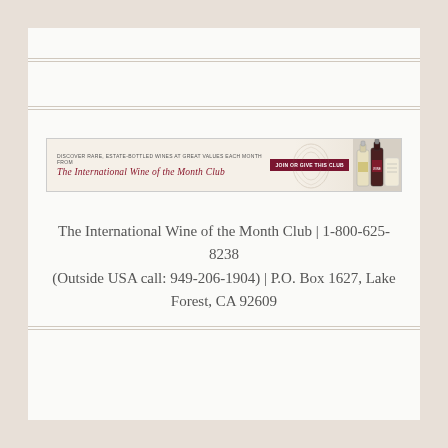[Figure (infographic): Banner advertisement for The International Wine of the Month Club. Contains small text 'DISCOVER RARE, ESTATE-BOTTLED WINES AT GREAT VALUES EACH MONTH FROM', italic script title 'The International Wine of the Month Club', a dark red button 'JOIN OR GIVE THIS CLUB', and wine bottle images on the right.]
The International Wine of the Month Club | 1-800-625-8238 (Outside USA call: 949-206-1904) | P.O. Box 1627, Lake Forest, CA 92609